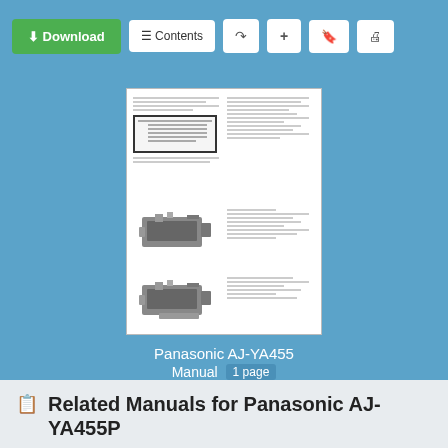Download | Contents | Share | Add | Bookmark | Print
[Figure (screenshot): Thumbnail preview of Panasonic AJ-YA455 manual page showing text columns, a table with bordered box, and two equipment diagrams of video/audio devices]
Panasonic AJ-YA455
Manual  1 page
Related Manuals for Panasonic AJ-YA455P
Audio & Video Accessories Panasonic AJ-YAC960P Installation